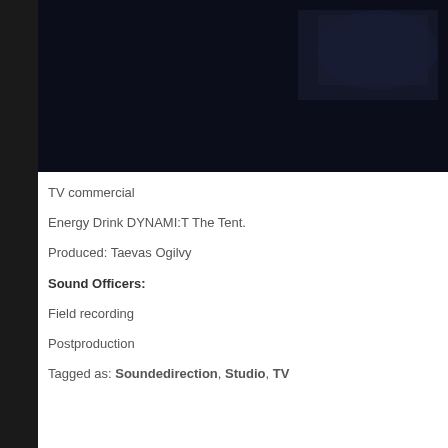[Figure (photo): Dark night scene from a TV commercial, very dark image with blue-black tones]
TV commercial
Energy Drink DYNAMI:T The Tent.
Produced: Taevas Ogilvy
Sound Officers:
Field recording
Postproduction
Tagged as: Soundedirection, Studio, TV